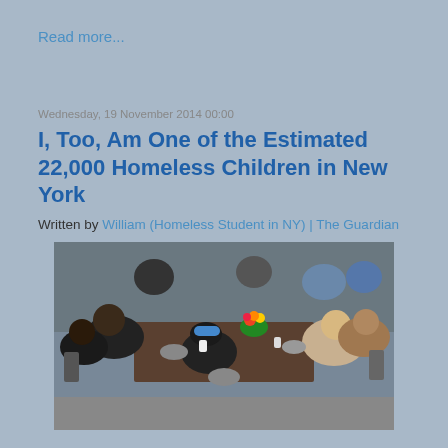Read more...
Wednesday, 19 November 2014 00:00
I, Too, Am One of the Estimated 22,000 Homeless Children in New York
Written by William (Homeless Student in NY) | The Guardian
[Figure (photo): People sitting at long outdoor tables eating a communal meal, with flower centerpieces on the tables. Multiple people of various ages sharing food at what appears to be a community or charity dinner.]
I used to dread it when people at school asked me where I live or if we could hang out at my place. I would try to give my